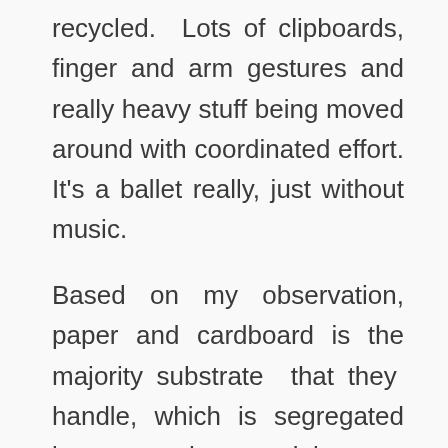recycled. Lots of clipboards, finger and arm gestures and really heavy stuff being moved around with coordinated effort. It's a ballet really, just without music.
Based on my observation, paper and cardboard is the majority substrate that they handle, which is segregated by type as the material comes arrives. In